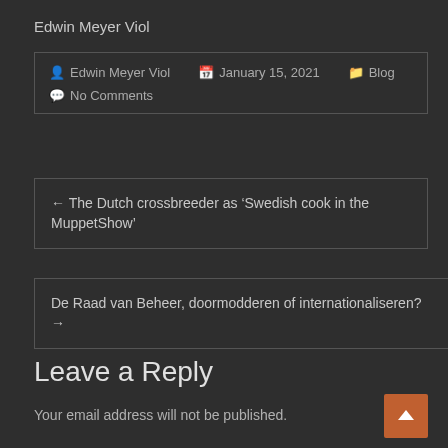Edwin Meyer Viol
Edwin Meyer Viol  January 15, 2021  Blog  No Comments
← The Dutch crossbreeder as 'Swedish cook in the MuppetShow'
De Raad van Beheer, doormodderen of internationaliseren? →
Leave a Reply
Your email address will not be published.